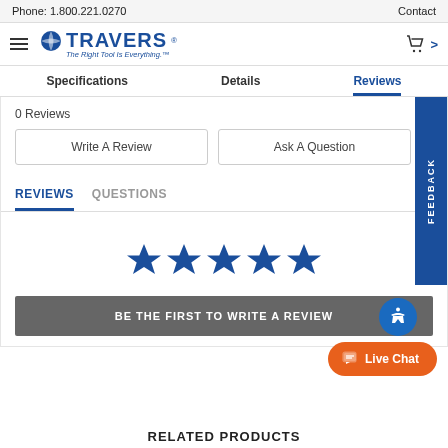Phone: 1.800.221.0270    Contact
[Figure (logo): Travers Tool Co. logo with blue globe icon and tagline 'The Right Tool Is Everything.']
Specifications    Details    Reviews
0 Reviews
Write A Review
Ask A Question
REVIEWS    QUESTIONS
[Figure (illustration): Five blue filled stars rating display]
BE THE FIRST TO WRITE A REVIEW
RELATED PRODUCTS